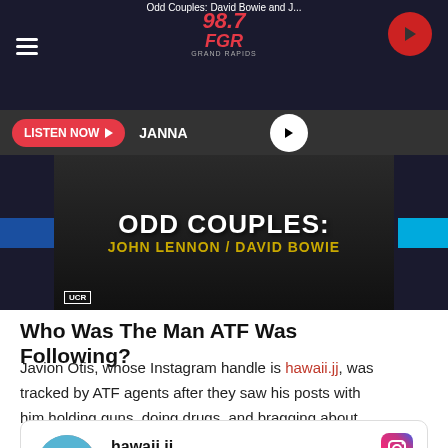[Figure (screenshot): Radio station 98.7 FGR header bar with hamburger menu, logo, and play button]
[Figure (screenshot): Listen Now bar with JANNA text and play button]
[Figure (photo): Odd Couples: John Lennon / David Bowie hero image]
Who Was The Man ATF Was Following?
Javion Otis, whose Instagram handle is hawaii.jj, was tracked by ATF agents after they saw his posts with him holding guns, doing drugs, and bragging about committing fraud.
[Figure (screenshot): Instagram profile card for hawaii.jj - Illuminati - 18.5K followers • 11 posts]